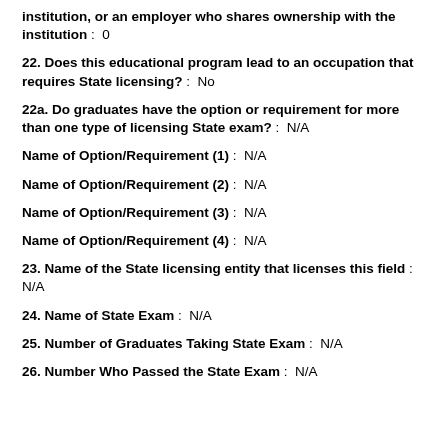institution, or an employer who shares ownership with the institution : 0
22. Does this educational program lead to an occupation that requires State licensing? : No
22a. Do graduates have the option or requirement for more than one type of licensing State exam? : N/A
Name of Option/Requirement (1) : N/A
Name of Option/Requirement (2) : N/A
Name of Option/Requirement (3) : N/A
Name of Option/Requirement (4) : N/A
23. Name of the State licensing entity that licenses this field : N/A
24. Name of State Exam : N/A
25. Number of Graduates Taking State Exam : N/A
26. Number Who Passed the State Exam : N/A